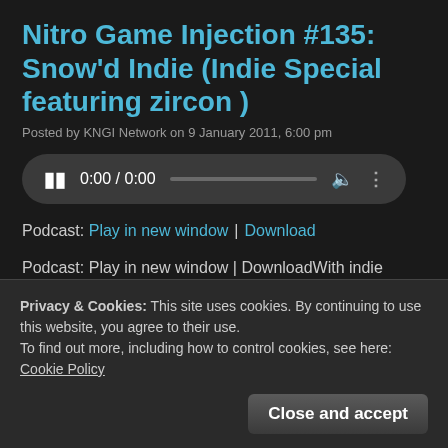Nitro Game Injection #135: Snow'd Indie (Indie Special featuring zircon )
Posted by KNGI Network on 9 January 2011, 6:00 pm
[Figure (other): Audio player widget showing pause button, time 0:00 / 0:00, progress bar, volume icon, and more options icon]
Podcast: Play in new window | Download
Podcast: Play in new window | DownloadWith indie gaming bigger than ever, NGI takes a look at some of the most fun and creative
Privacy & Cookies: This site uses cookies. By continuing to use this website, you agree to their use.
To find out more, including how to control cookies, see here: Cookie Policy
Continue reading "Nitro Game Injection #135: Snow'd Indie (Indie